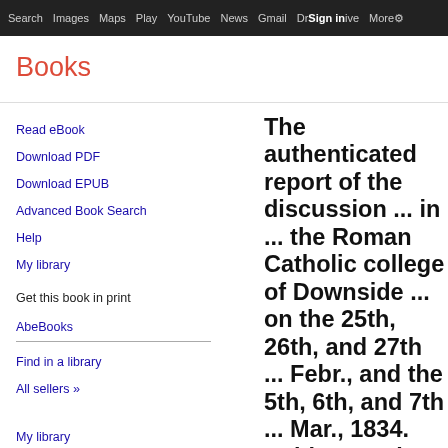Search  Images  Maps  Play  YouTube  News  Gmail  Drive  More  Sign in  ⚙
Books
Read eBook
Download PDF
Download EPUB
Advanced Book Search
Help
My library
Get this book in print
AbeBooks
Find in a library
All sellers »
My library
The authenticated report of the discussion ... in ... the Roman Catholic college of Downside ... on the 25th, 26th, and 27th ... Febr., and the 5th, 6th, and 7th ... Mar., 1834. Subjects: 'The rule of faith', and 'The sacrifice of the mass'.